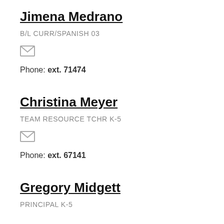Jimena Medrano
B/L CURR/SPANISH 03
[Figure (other): Email envelope icon]
Phone: ext. 71474
Christina Meyer
TEAM RESOURCE TCHR K-5
[Figure (other): Email envelope icon]
Phone: ext. 67141
Gregory Midgett
PRINCIPAL K-5